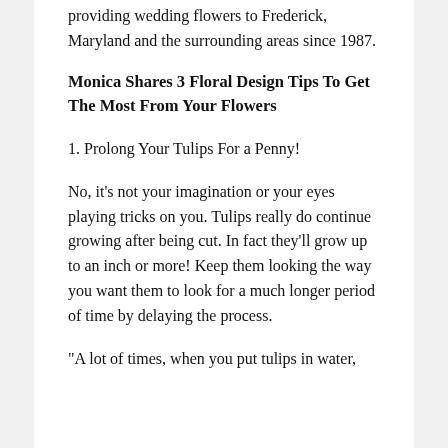providing wedding flowers to Frederick, Maryland and the surrounding areas since 1987.
Monica Shares 3 Floral Design Tips To Get The Most From Your Flowers
1. Prolong Your Tulips For a Penny!
No, it’s not your imagination or your eyes playing tricks on you. Tulips really do continue growing after being cut. In fact they’ll grow up to an inch or more! Keep them looking the way you want them to look for a much longer period of time by delaying the process.
“A lot of times, when you put tulips in water,